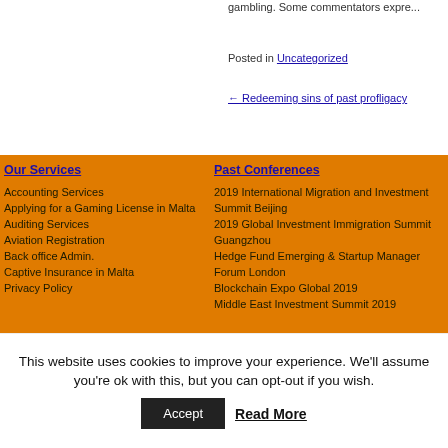gambling. Some commentators expre...
Posted in Uncategorized
← Redeeming sins of past profligacy
Our Services
Accounting Services
Applying for a Gaming License in Malta
Auditing Services
Aviation Registration
Back office Admin.
Captive Insurance in Malta
Privacy Policy
Past Conferences
2019 International Migration and Investment Summit Beijing
2019 Global Investment Immigration Summit Guangzhou
Hedge Fund Emerging & Startup Manager Forum London
Blockchain Expo Global 2019
Middle East Investment Summit 2019
This website uses cookies to improve your experience. We'll assume you're ok with this, but you can opt-out if you wish.
Accept   Read More